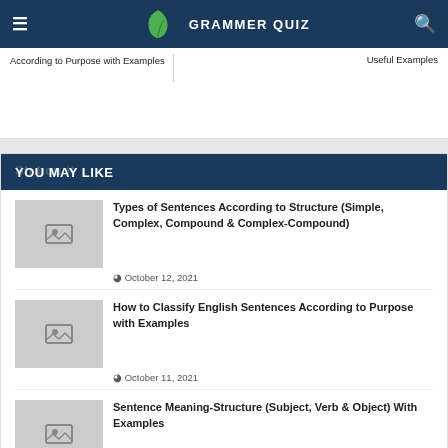GRAMMER QUIZ
According to Purpose with Examples
Useful Examples
YOU MAY LIKE
Types of Sentences According to Structure (Simple, Complex, Compound & Complex-Compound)
October 12, 2021
How to Classify English Sentences According to Purpose with Examples
October 11, 2021
Sentence Meaning-Structure (Subject, Verb & Object) With Examples
October 10, 2021